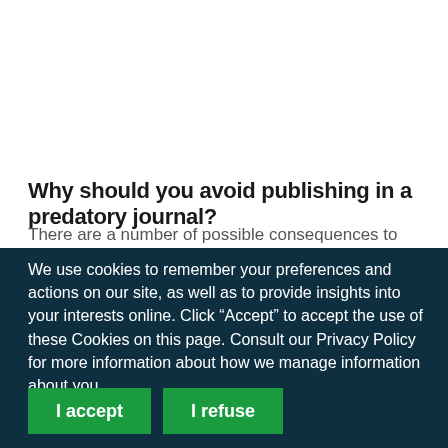Why should you avoid publishing in a predatory journal?
There are a number of possible consequences to publishing in a
We use cookies to remember your preferences and actions on our site, as well as to provide insights into your interests online. Click “Accept” to accept the use of these Cookies on this page. Consult our Privacy Policy for more information about how we manage information about you.
I accept
I refuse